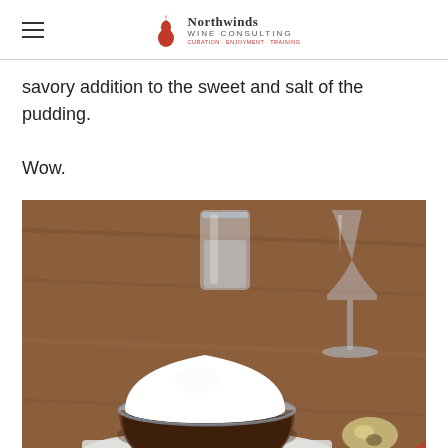Northwinds Wine Consulting
savory addition to the sweet and salt of the pudding. Wow.
[Figure (photo): A glass bowl containing a chocolate pudding topped with a large white cream or meringue dome, served on a white napkin on a wooden table, with glassware (water glass and wine glass) visible in the background, and a spoon in the foreground right.]